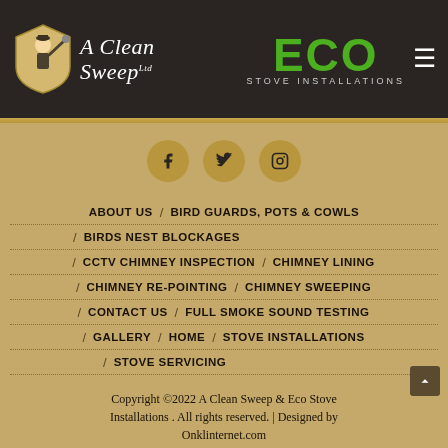[Figure (logo): A Clean Sweep Ltd logo with chimney sweep illustration and script text, alongside ECO Stove Installations green brand text and hamburger menu icon on dark background header]
[Figure (infographic): Three social media icons (Facebook, Twitter, Instagram) as dark circles on tan background]
ABOUT US / BIRD GUARDS, POTS & COWLS
/ BIRDS NEST BLOCKAGES
/ CCTV CHIMNEY INSPECTION / CHIMNEY LINING
/ CHIMNEY RE-POINTING / CHIMNEY SWEEPING
/ CONTACT US / FULL SMOKE SOUND TESTING
/ GALLERY / HOME / STOVE INSTALLATIONS
/ STOVE SERVICING
Copyright ©2022 A Clean Sweep & Eco Stove Installations . All rights reserved. | Designed by Onklinternet.com